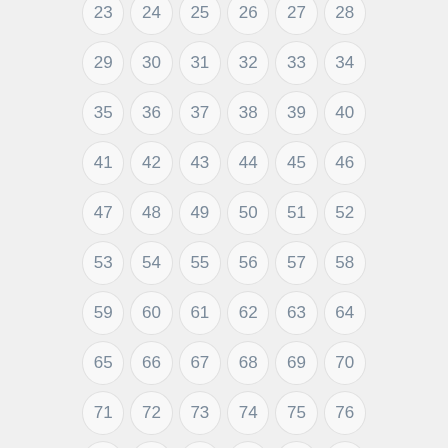[Figure (other): Grid of numbered circles from 23 to 94 arranged in rows of 6, with numbers 23-28 partially visible at top, then rows 29-34, 35-40, 41-46, 47-52, 53-58, 59-64, 65-70, 71-76, 77-82, 83-88, 89-94 at bottom. Number 91 is highlighted in blue.]